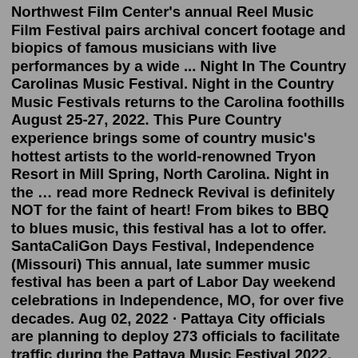Northwest Film Center's annual Reel Music Film Festival pairs archival concert footage and biopics of famous musicians with live performances by a wide ... Night In The Country Carolinas Music Festival. Night in the Country Music Festivals returns to the Carolina foothills August 25-27, 2022. This Pure Country experience brings some of country music's hottest artists to the world-renowned Tryon Resort in Mill Spring, North Carolina. Night in the … read more Redneck Revival is definitely NOT for the faint of heart! From bikes to BBQ to blues music, this festival has a lot to offer. SantaCaliGon Days Festival, Independence (Missouri) This annual, late summer music festival has been a part of Labor Day weekend celebrations in Independence, MO, for over five decades. Aug 02, 2022 · Pattaya City officials are planning to deploy 273 officials to facilitate traffic during the Pattaya Music Festival 2022, which will begin its first round on August 5th and 6th. Jul 29, 2022 · The music festival returns to South Broadway